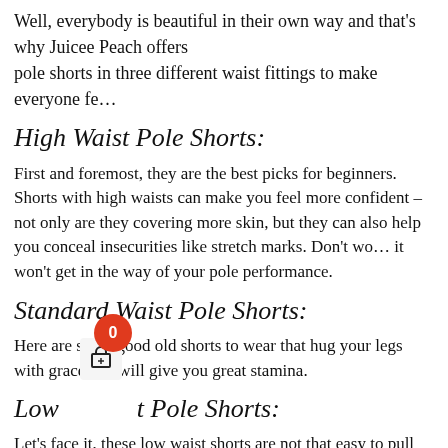Well, everybody is beautiful in their own way and that's why Juicee Peach offers pole shorts in three different waist fittings to make everyone fe…
High Waist Pole Shorts:
First and foremost, they are the best picks for beginners. Shorts with high waists can make you feel more confident – not only are they covering more skin, but they can also help you conceal insecurities like stretch marks. Don't wo… it won't get in the way of your pole performance.
Standard Waist Pole Shorts:
Here are some good old shorts to wear that hug your legs with grace and will give you great stamina.
Low Waist Pole Shorts:
Let's face it, these low waist shorts are not that easy to pull off as they are quite lower from the front which means most…